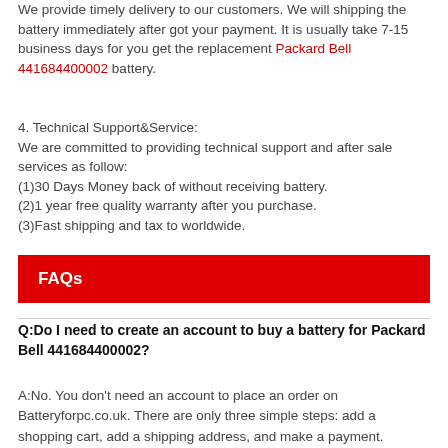We provide timely delivery to our customers. We will shipping the battery immediately after got your payment. It is usually take 7-15 business days for you get the replacement Packard Bell 441684400002 battery.
4. Technical Support&Service:
We are committed to providing technical support and after sale services as follow:
(1)30 Days Money back of without receiving battery.
(2)1 year free quality warranty after you purchase.
(3)Fast shipping and tax to worldwide.
FAQs
Q:Do I need to create an account to buy a battery for Packard Bell 441684400002?
A:No. You don't need an account to place an order on Batteryforpc.co.uk. There are only three simple steps: add a shopping cart, add a shipping address, and make a payment.